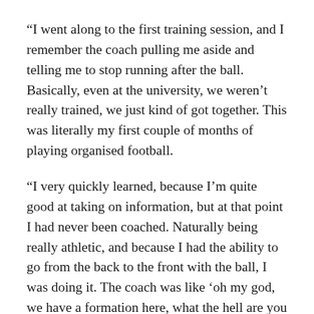“I went along to the first training session, and I remember the coach pulling me aside and telling me to stop running after the ball. Basically, even at the university, we weren’t really trained, we just kind of got together. This was literally my first couple of months of playing organised football.
“I very quickly learned, because I’m quite good at taking on information, but at that point I had never been coached. Naturally being really athletic, and because I had the ability to go from the back to the front with the ball, I was doing it. The coach was like ‘oh my god, we have a formation here, what the hell are you doing?’ That was the first and last time I ever did that.